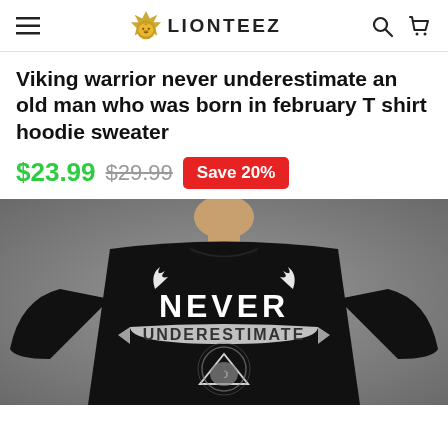LIONTEEZ
Viking warrior never underestimate an old man who was born in february T shirt hoodie sweater
$23.99  $29.99  Save 20%
[Figure (photo): Back view of a person wearing a black t-shirt with Viking warrior graphic design showing 'NEVER UNDERESTIMATE' text with Norse-style artwork]